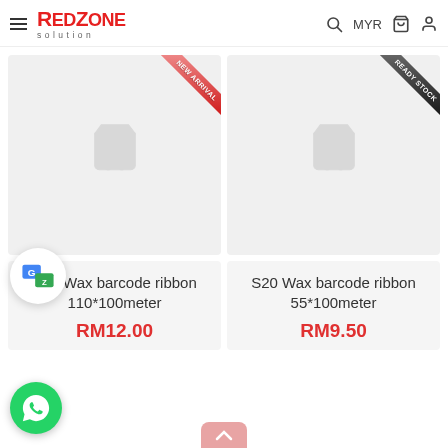RedZone Solution — MYR — Navigation header with search, cart, user icons
[Figure (screenshot): Product card top-left: image placeholder with faint shopping cart icon, NEW ARRIVAL ribbon in top-right corner of card]
[Figure (screenshot): Product card top-right: image placeholder with faint shopping cart icon, READY STOCK ribbon in top-right corner of card]
[Figure (logo): Google Translate floating bubble icon]
[Figure (logo): WhatsApp floating chat bubble (green circle with phone icon)]
S20 Wax barcode ribbon 110*100meter
RM12.00
S20 Wax barcode ribbon 55*100meter
RM9.50